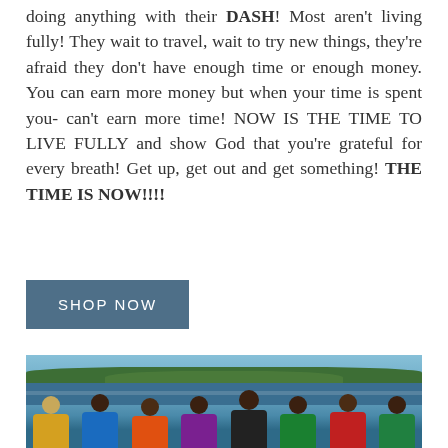doing anything with their DASH! Most aren't living fully! They wait to travel, wait to try new things, they're afraid they don't have enough time or enough money. You can earn more money but when your time is spent you- can't earn more time! NOW IS THE TIME TO LIVE FULLY and show God that you're grateful for every breath! Get up, get out and get something! THE TIME IS NOW!!!!
[Figure (other): A blue rectangular button with white uppercase text reading 'SHOP NOW']
[Figure (photo): A group photo of about 8-9 people wearing colorful t-shirts standing in front of a lake with trees and blue sky in the background]